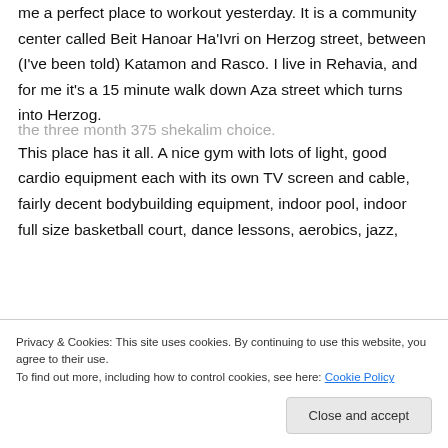me a perfect place to workout yesterday. It is a community center called Beit Hanoar Ha'Ivri on Herzog street, between (I've been told) Katamon and Rasco. I live in Rehavia, and for me it's a 15 minute walk down Aza street which turns into Herzog.
This place has it all. A nice gym with lots of light, good cardio equipment each with its own TV screen and cable, fairly decent bodybuilding equipment, indoor pool, indoor full size basketball court, dance lessons, aerobics, jazz,
the three month 375 shekalim choice.
Privacy & Cookies: This site uses cookies. By continuing to use this website, you agree to their use.
To find out more, including how to control cookies, see here: Cookie Policy